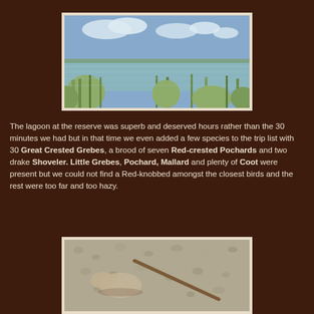[Figure (photo): Panoramic view of a lagoon reserve with green reeds/shrubs in the foreground, calm water in the middle, and a flat landscape with trees on the horizon under a partly cloudy blue sky.]
The lagoon at the reserve was superb and deserved hours rather than the 30 minutes we had but in that time we even added a few species to the trip list with 30 Great Crested Grebes, a brood of seven Red-crested Pochards and two drake Shoveler. Little Grebes, Pochard, Mallard and plenty of Coot were present but we could not find a Red-knobbed amongst the closest birds and the rest were too far and too hazy.
[Figure (photo): Close-up of a bird (partially visible) on pebbly/gravelly ground or sand, with a stick or twig visible.]